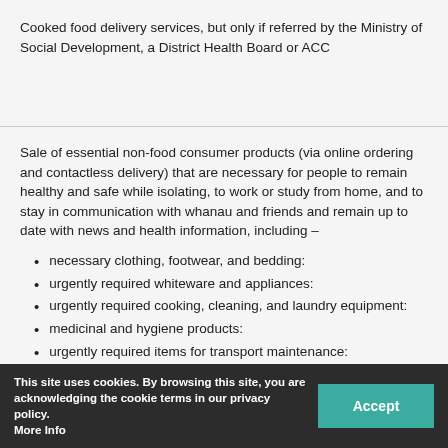Cooked food delivery services, but only if referred by the Ministry of Social Development, a District Health Board or ACC
Sale of essential non-food consumer products (via online ordering and contactless delivery) that are necessary for people to remain healthy and safe while isolating, to work or study from home, and to stay in communication with whanau and friends and remain up to date with news and health information, including –
necessary clothing, footwear, and bedding:
urgently required whiteware and appliances:
urgently required cooking, cleaning, and laundry equipment:
medicinal and hygiene products:
urgently required items for transport maintenance:
materials for urgent home repair:
urgently required communication devices:
This site uses cookies. By browsing this site, you are acknowledging the cookie terms in our privacy policy. More Info